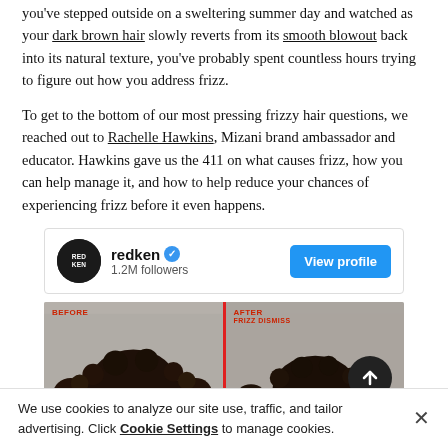you've stepped outside on a sweltering summer day and watched as your dark brown hair slowly reverts from its smooth blowout back into its natural texture, you've probably spent countless hours trying to figure out how you address frizz.
To get to the bottom of our most pressing frizzy hair questions, we reached out to Rachelle Hawkins, Mizani brand ambassador and educator. Hawkins gave us the 411 on what causes frizz, how you can help manage it, and how to help reduce your chances of experiencing frizz before it even happens.
[Figure (screenshot): Redken Instagram profile card with avatar showing REDKEN logo on black circle, name 'redken' with verified blue checkmark, '1.2M followers', and a blue 'View profile' button. Below is a before/after hair comparison image with red vertical divider, 'BEFORE' label on left and 'AFTER FRIZZ DISMISS' label on right, showing curly dark hair on both sides.]
We use cookies to analyze our site use, traffic, and tailor advertising. Click Cookie Settings to manage cookies.